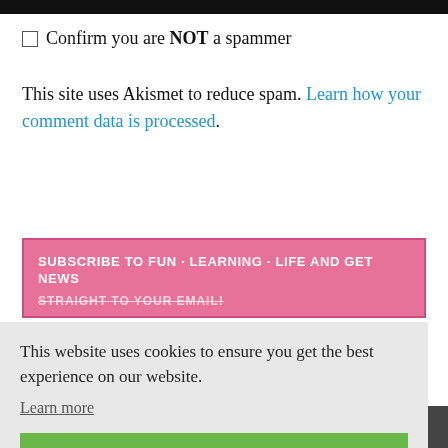Confirm you are NOT a spammer
This site uses Akismet to reduce spam. Learn how your comment data is processed.
SUBSCRIBE TO FUN · LEARNING · LIFE AND GET NEWS STRAIGHT TO YOUR EMAIL!
This website uses cookies to ensure you get the best experience on our website.
Learn more
Got it!
POPULAR POSTS